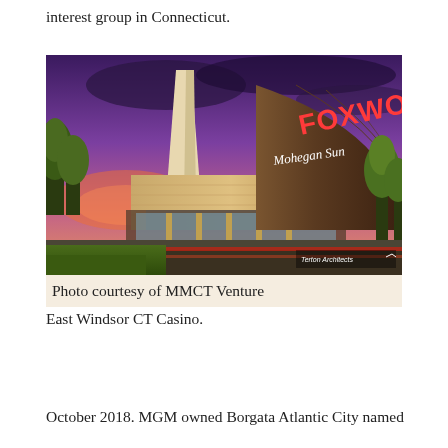interest group in Connecticut.
[Figure (photo): Architectural rendering of East Windsor CT Casino, showing Mohegan Sun Foxwoods branded building at dusk with purple sky and green trees. Photo credit: Terton Architects. Caption: Photo courtesy of MMCT Venture]
East Windsor CT Casino.
October 2018. MGM owned Borgata Atlantic City named